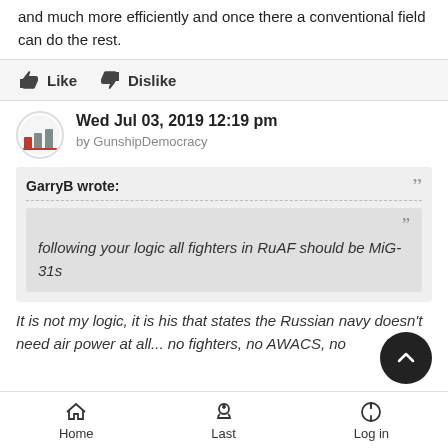and much more efficiently and once there a conventional field can do the rest.
Like   Dislike
Wed Jul 03, 2019 12:19 pm
by GunshipDemocracy
GarryB wrote:
following your logic all fighters in RuAF should be MiG-31s
It is not my logic, it is his that states the Russian navy doesn't need air power at all... no fighters, no AWACS, no
Home   Last   Log in